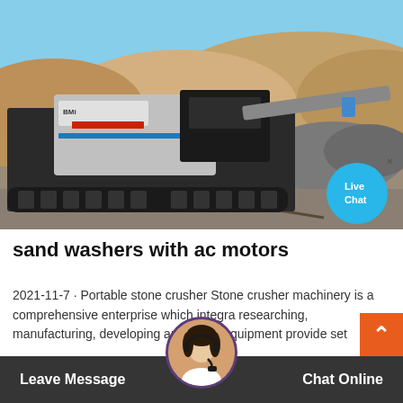[Figure (photo): A large mobile jaw crusher / portable stone crusher machine on tracks, positioned in a quarry or aggregate site with piles of crushed stone and hills in the background. Live Chat bubble overlay visible in bottom-right of image with an X close button.]
sand washers with ac motors
2021-11-7 · Portable stone crusher Stone crusher machinery is a comprehensive enterprise which integra researching, manufacturing, developing and se for equipment provide set